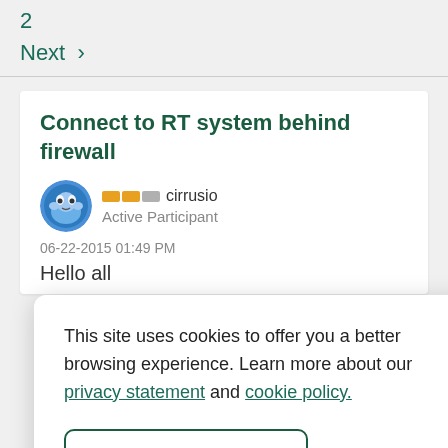2
Next >
Connect to RT system behind firewall
cirrusio
Active Participant
06-22-2015 01:49 PM
Hello all
This site uses cookies to offer you a better browsing experience. Learn more about our privacy statement and cookie policy.
Yes, I accept